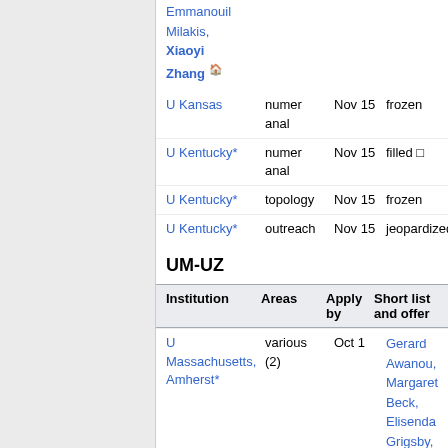Emmanouil Milakis, Xiaoyi Zhang 🏠
| Institution | Areas | Apply by | Short list and offers |
| --- | --- | --- | --- |
| U Kansas | numer anal | Nov 15 | frozen |
| U Kentucky* | numer anal | Nov 15 | filled □ |
| U Kentucky* | topology | Nov 15 | frozen |
| U Kentucky* | outreach | Nov 15 | jeopardized |
UM-UZ
| Institution | Areas | Apply by | Short list and offers |
| --- | --- | --- | --- |
| U Massachusetts, Amherst* | various (2) | Oct 1 | Gerard Awanou, Margaret Beck, Elisenda Grigsby, R Hacking, Enno |